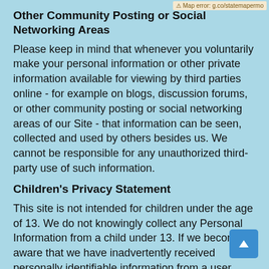Other Community Posting or Social Networking Areas
Please keep in mind that whenever you voluntarily make your personal information or other private information available for viewing by third parties online - for example on blogs, discussion forums, or other community posting or social networking areas of our Site - that information can be seen, collected and used by others besides us. We cannot be responsible for any unauthorized third-party use of such information.
Children's Privacy Statement
This site is not intended for children under the age of 13. We do not knowingly collect any Personal Information from a child under 13. If we become aware that we have inadvertently received personally identifiable information from a user under the age of 13 as part of the Site, we will delete such information from our records.
How To Make Changes to Your Information
If you are a registered user of our Site, you can make